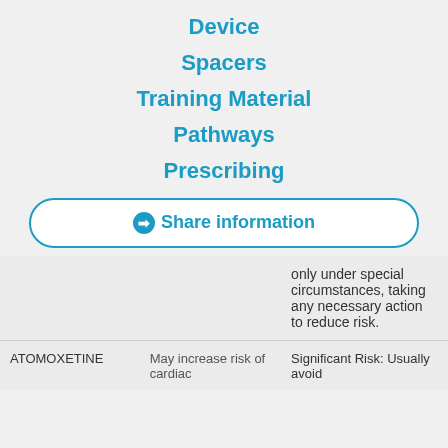Device
Spacers
Training Material
Pathways
Prescribing
➔ Share information
|  |  |  |
| --- | --- | --- |
|  |  | only under special circumstances, taking any necessary action to reduce risk. |
| ATOMOXETINE | May increase risk of cardiac | Significant Risk: Usually avoid |